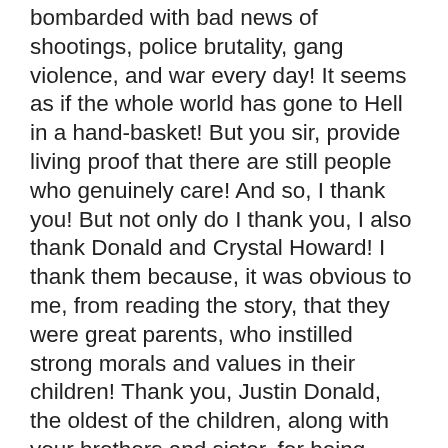bombarded with bad news of shootings, police brutality, gang violence, and war every day! It seems as if the whole world has gone to Hell in a hand-basket! But you sir, provide living proof that there are still people who genuinely care! And so, I thank you! But not only do I thank you, I also thank Donald and Crystal Howard! I thank them because, it was obvious to me, from reading the story, that they were great parents, who instilled strong morals and values in their children! Thank you, Justin Donald, the oldest of the children, along with your brothers and sister, for being strong and brave in your hour of tragedy! I can't imagine the pain you must be feeling right now! This story has touched me in a deep way and I don't personally know anyone involved. So I know the situation must be weighting on you and your siblings, along with the rest of the family